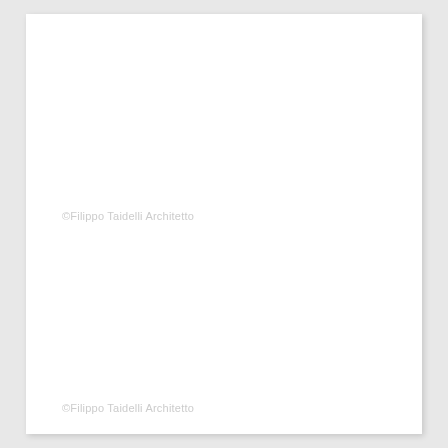©Filippo Taidelli Architetto
©Filippo Taidelli Architetto